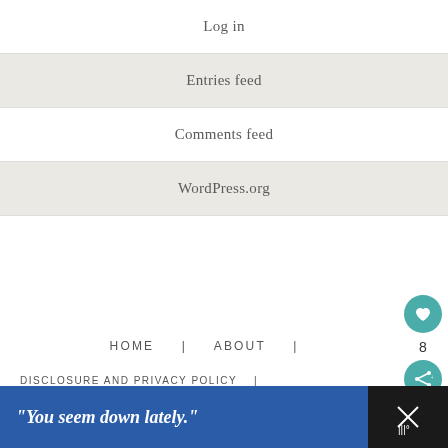Log in
Entries feed
Comments feed
WordPress.org
HOME | ABOUT |
DISCLOSURE AND PRIVACY POLICY |
[Figure (infographic): Circular teal heart/like button with count of 8 and share button below]
[Figure (infographic): Blue ad banner at bottom with text: "You seem down lately." and a dark panel on the right with an X close button]